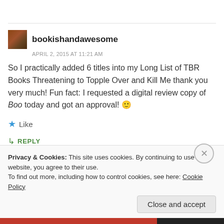bookishandawesome
APRIL 2, 2015 AT 11:21 AM
So I practically added 6 titles into my Long List of TBR Books Threatening to Topple Over and Kill Me thank you very much! Fun fact: I requested a digital review copy of Boo today and got an approval! 🙂
★ Like
↳ REPLY
Privacy & Cookies: This site uses cookies. By continuing to use this website, you agree to their use.
To find out more, including how to control cookies, see here: Cookie Policy
Close and accept